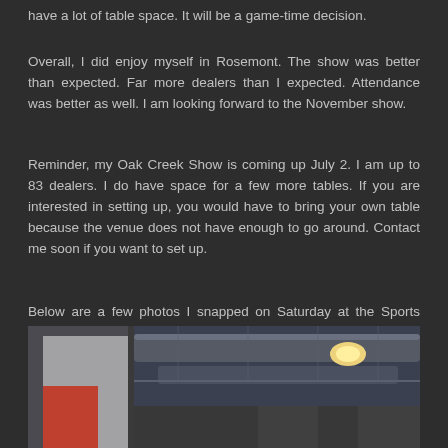have a lot of table space. It will be a game-time decision.
Overall, I did enjoy myself in Rosemont. The show was better than expected. Far more dealers than I expected. Attendance was better as well. I am looking forward to the November show.
Reminder, my Oak Creek Show is coming up July 2. I am up to 83 dealers. I do have space for a few more tables. If you are interested in setting up, you would have to bring your own table because the venue does not have enough to go around. Contact me soon if you want to set up.
Below are a few photos I snapped on Saturday at the Sports Spectacular.
[Figure (photo): Interior photo of a convention/sports show venue showing industrial ceiling with exposed ductwork, lighting, and structural elements. A partial view of a white wall with a red/orange accent column is visible on the left side.]